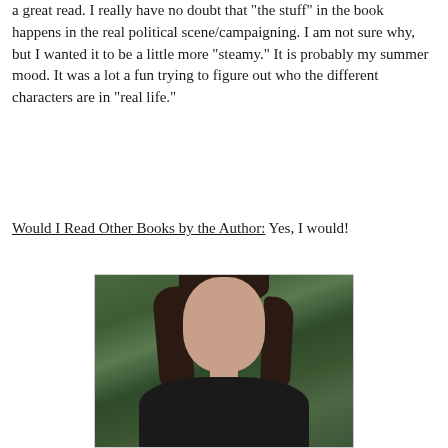a great read.  I really have no doubt that "the stuff" in the book happens in the real political scene/campaigning.  I am not sure why, but I wanted it to be a little more "steamy."  It is probably my summer mood. It was a lot a fun trying to figure out who the different characters are in "real life."
Would I Read Other Books by the Author:  Yes, I would!
[Figure (photo): Portrait photo of a woman with long dark hair and fair skin, smiling slightly, with green foliage in the background, wearing dark clothing.]